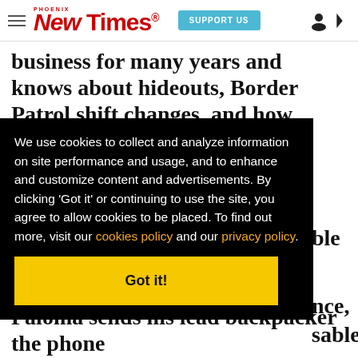Phoenix New Times | SUPPORT US
business for many years and knows about hideouts, Border Patrol shift changes, and how to get through the terrain...
We use cookies to collect and analyze information on site performance and usage, and to enhance and customize content and advertisements. By clicking 'Got it' or continuing to use the site, you agree to allow cookies to be placed. To find out more, visit our cookies policy and our privacy policy.
Got it!
Paloma sends his lead backpacker the phone